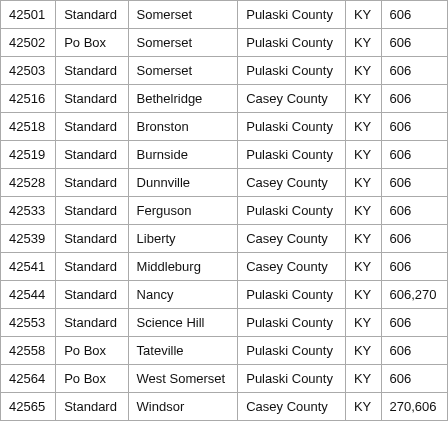| 42501 | Standard | Somerset | Pulaski County | KY | 606 |
| 42502 | Po Box | Somerset | Pulaski County | KY | 606 |
| 42503 | Standard | Somerset | Pulaski County | KY | 606 |
| 42516 | Standard | Bethelridge | Casey County | KY | 606 |
| 42518 | Standard | Bronston | Pulaski County | KY | 606 |
| 42519 | Standard | Burnside | Pulaski County | KY | 606 |
| 42528 | Standard | Dunnville | Casey County | KY | 606 |
| 42533 | Standard | Ferguson | Pulaski County | KY | 606 |
| 42539 | Standard | Liberty | Casey County | KY | 606 |
| 42541 | Standard | Middleburg | Casey County | KY | 606 |
| 42544 | Standard | Nancy | Pulaski County | KY | 606,270 |
| 42553 | Standard | Science Hill | Pulaski County | KY | 606 |
| 42558 | Po Box | Tateville | Pulaski County | KY | 606 |
| 42564 | Po Box | West Somerset | Pulaski County | KY | 606 |
| 42565 | Standard | Windsor | Casey County | KY | 270,606 |